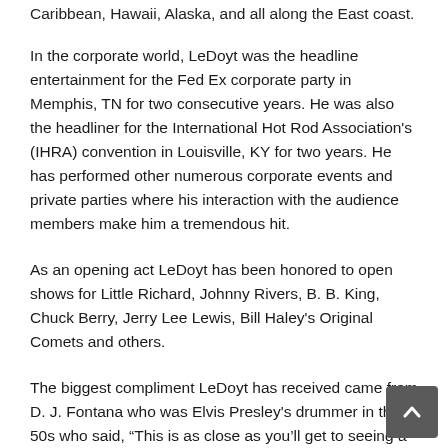Caribbean, Hawaii, Alaska, and all along the East coast.
In the corporate world, LeDoyt was the headline entertainment for the Fed Ex corporate party in Memphis, TN for two consecutive years. He was also the headliner for the International Hot Rod Association's (IHRA) convention in Louisville, KY for two years. He has performed other numerous corporate events and private parties where his interaction with the audience members make him a tremendous hit.
As an opening act LeDoyt has been honored to open shows for Little Richard, Johnny Rivers, B. B. King, Chuck Berry, Jerry Lee Lewis, Bill Haley's Original Comets and others.
The biggest compliment LeDoyt has received came from D. J. Fontana who was Elvis Presley's drummer in the 50s who said, “This is as close as you’ll get to seeing a concert by Elvis Presley in the early years.” Other accolades come from the New York Times who chose LeDoyt as the person who most looked like Elvis for a